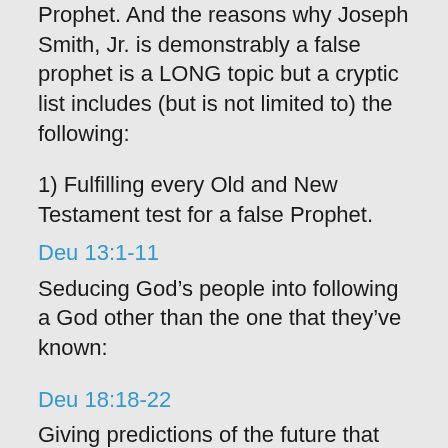Prophet. And the reasons why Joseph Smith, Jr. is demonstrably a false prophet is a LONG topic but a cryptic list includes (but is not limited to) the following:
1) Fulfilling every Old and New Testament test for a false Prophet.
Deu 13:1-11
Seducing God’s people into following a God other than the one that they’ve known:
Deu 18:18-22
Giving predictions of the future that fail to come to pass:
(also see #2 below)
Mat 7:15-20
Living a life that doesn’t produce good fruit: